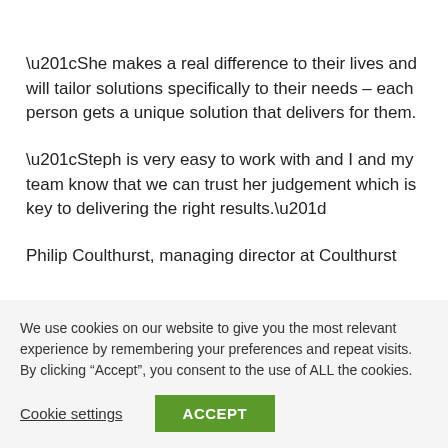“She makes a real difference to their lives and will tailor solutions specifically to their needs – each person gets a unique solution that delivers for them.
“Steph is very easy to work with and I and my team know that we can trust her judgement which is key to delivering the right results.”
Philip Coulthurst, managing director at Coulthurst
We use cookies on our website to give you the most relevant experience by remembering your preferences and repeat visits. By clicking “Accept”, you consent to the use of ALL the cookies.
Cookie settings
ACCEPT